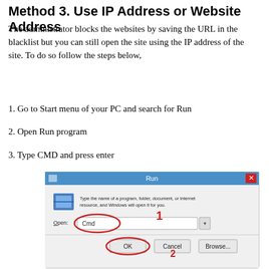Method 3. Use IP Address or Website Address
The administrator blocks the websites by saving the URL in the blacklist but you can still open the site using the IP address of the site. To do so follow the steps below,
1. Go to Start menu of your PC and search for Run
2. Open Run program
3. Type CMD and press enter
[Figure (screenshot): Windows Run dialog box with 'Cmd' typed in the Open field. The Cmd text and OK button are circled in red. A red '1' annotation marks the input field and '2' marks the OK button.]